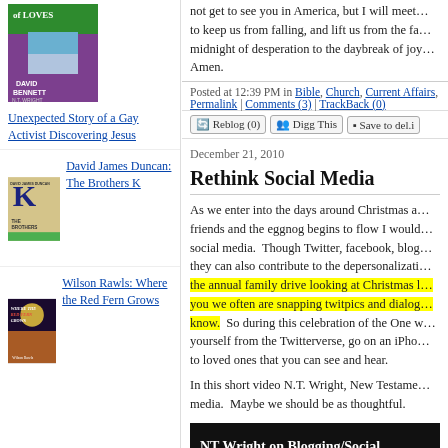[Figure (illustration): Book cover: A War of Loves by David Bennett with foreword by N.T. Wright]
Unexpected Story of a Gay Activist Discovering Jesus
[Figure (illustration): Book cover: The Brothers K by David James Duncan]
David James Duncan: The Brothers K
[Figure (illustration): Book cover: Where the Red Fern Grows by Wilson Rawls]
Wilson Rawls: Where the Red Fern Grows
not get to see you in America, but I will meet… to keep us from falling, and lift us from the fa… midnight of desperation to the daybreak of joy… Amen.
Posted at 12:39 PM in Bible, Church, Current Affairs, Permalink | Comments (3) | TrackBack (0)
Reblog (0) | Digg This | Save to del.i
December 21, 2010
Rethink Social Media
As we enter into the days around Christmas a… friends and the eggnog begins to flow I would… social media.  Though Twitter, facebook, blog… they can also contribute to the depersonalizati… the annual family drive looking at Christmas l… you we often are snapping twitpics and dialog… know.  So during this celebration of the One w… yourself from the Twitterverse, go on an iPho… to loved ones that you can see and hear.
In this short video N.T. Wright, New Testame… media.  Maybe we should be as thoughtful.
[Figure (screenshot): Video thumbnail: NT Wright on Blogging/Social Media, dark background with white bold text]